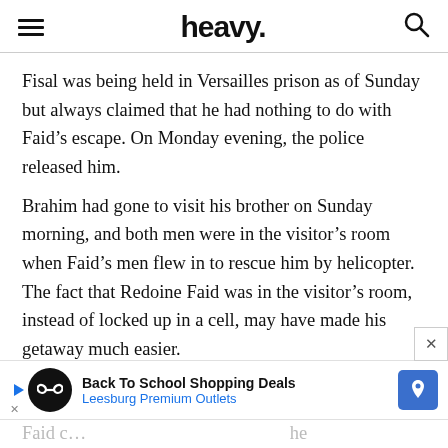heavy.
Fisal was being held in Versailles prison as of Sunday but always claimed that he had nothing to do with Faid’s escape. On Monday evening, the police released him.
Brahim had gone to visit his brother on Sunday morning, and both men were in the visitor’s room when Faid’s men flew in to rescue him by helicopter. The fact that Redoine Faid was in the visitor’s room, instead of locked up in a cell, may have made his getaway much easier.
[Figure (screenshot): Advertisement banner: Back To School Shopping Deals, Leesburg Premium Outlets, with play button icon, infinity logo, and blue arrow/map pin icon.]